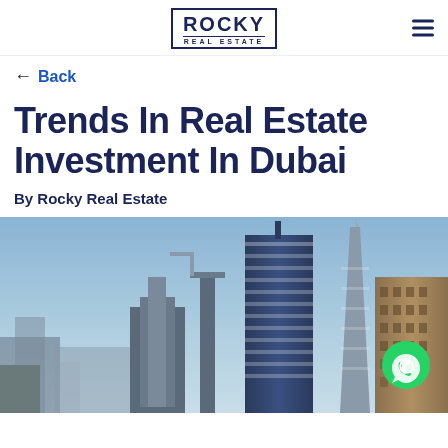ROCKY REAL ESTATE
← Back
Trends In Real Estate Investment In Dubai
By Rocky Real Estate
[Figure (photo): Dubai skyline with tall modern skyscrapers and buildings under a blue sky]